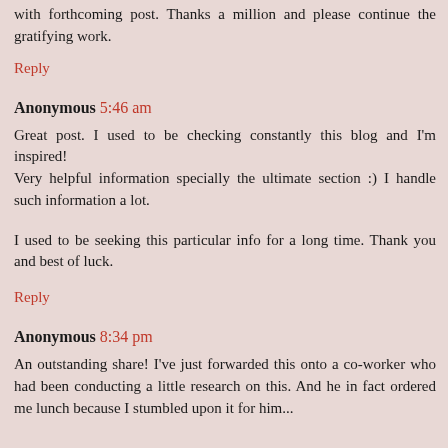with forthcoming post. Thanks a million and please continue the gratifying work.
Reply
Anonymous 5:46 am
Great post. I used to be checking constantly this blog and I'm inspired!
Very helpful information specially the ultimate section :) I handle such information a lot.
I used to be seeking this particular info for a long time. Thank you and best of luck.
Reply
Anonymous 8:34 pm
An outstanding share! I've just forwarded this onto a co-worker who had been conducting a little research on this. And he in fact ordered me lunch because I stumbled upon it for him...